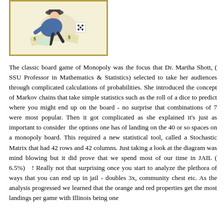[Figure (illustration): Illustration of a Monopoly board game character or scene, shown inside a cream/yellow bordered frame]
The classic board game of Monopoly was the focus that Dr. Martha Shott, ( SSU Professor in Mathematics & Statistics) selected to take her audiences through complicated calculations of probabilities. She introduced the concept of Markov chains that take simple statistics such as the roll of a dice to predict where you might end up on the board - no surprise that combinations of 7 were most popular. Then it got complicated as she explained it's just as important to consider the options one has of landing on the 40 or so spaces on a monopoly board. This required a new statistical tool, called a Stochastic Matrix that had 42 rows and 42 columns. Just taking a look at the diagram was mind blowing but it did prove that we spend most of our time in JAIL ( 6.5%) ! Really not that surprising once you start to analyze the plethora of ways that you can end up in jail - doubles 3x, community chest etc. As the analysis progressed we learned that the orange and red properties get the most landings per game with Illinois being one